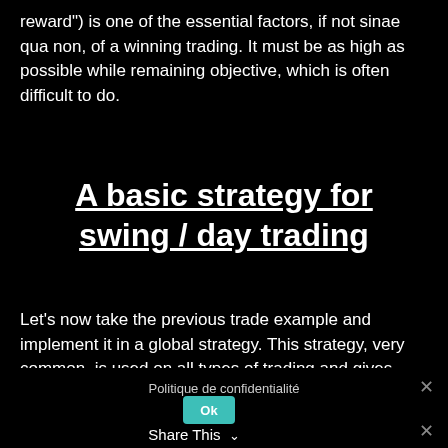reward") is one of the essential factors, if not sinae qua non, of a winning trading. It must be as high as possible while remaining objective, which is often difficult to do.
A basic strategy for swing / day trading
Let’s now take the previous trade example and implement it in a global strategy. This strategy, very common, is used on all types of trading and gives particularly effective results for swing / day trading traders.
Politique de confidentialité
Ok
Share This ⌄
×
×